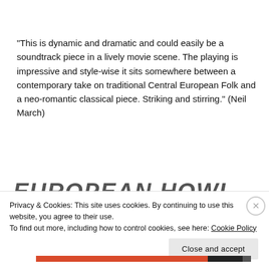“This is dynamic and dramatic and could easily be a soundtrack piece in a lively movie scene. The playing is impressive and style-wise it sits somewhere between a contemporary take on traditional Central European Folk and a neo-romantic classical piece. Striking and stirring.” (Neil March)
EUROPEAN HOWL
Privacy & Cookies: This site uses cookies. By continuing to use this website, you agree to their use.
To find out more, including how to control cookies, see here: Cookie Policy